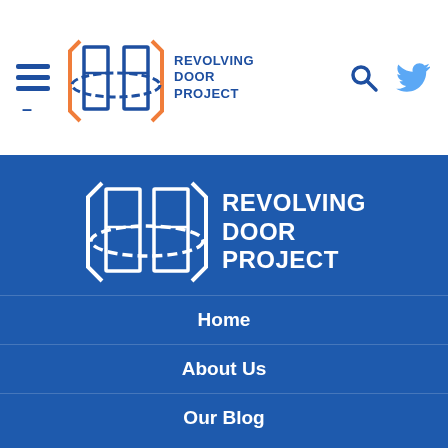[Figure (logo): Revolving Door Project logo in header: orange/blue open book/door icon with navy text REVOLVING DOOR PROJECT]
[Figure (logo): Revolving Door Project logo in blue footer section: white open book/door icon with white text REVOLVING DOOR PROJECT]
Home
About Us
Our Blog